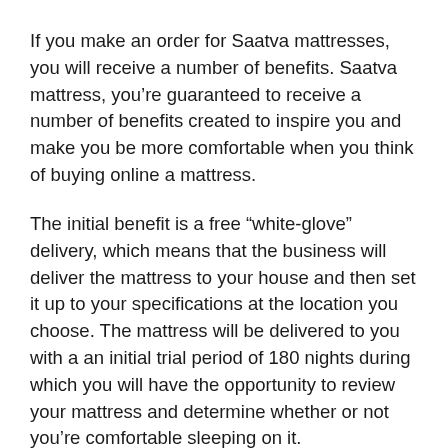If you make an order for Saatva mattresses, you will receive a number of benefits. Saatva mattress, you're guaranteed to receive a number of benefits created to inspire you and make you be more comfortable when you think of buying online a mattress.
The initial benefit is a free “white-glove” delivery, which means that the business will deliver the mattress to your house and then set it up to your specifications at the location you choose. The mattress will be delivered to you with a an initial trial period of 180 nights during which you will have the opportunity to review your mattress and determine whether or not you’re comfortable sleeping on it.